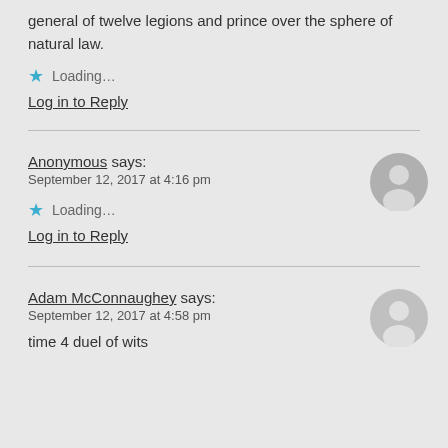general of twelve legions and prince over the sphere of natural law.
★ Loading...
Log in to Reply
Anonymous says:
September 12, 2017 at 4:16 pm
★ Loading...
Log in to Reply
Adam McConnaughey says:
September 12, 2017 at 4:58 pm
time 4 duel of wits